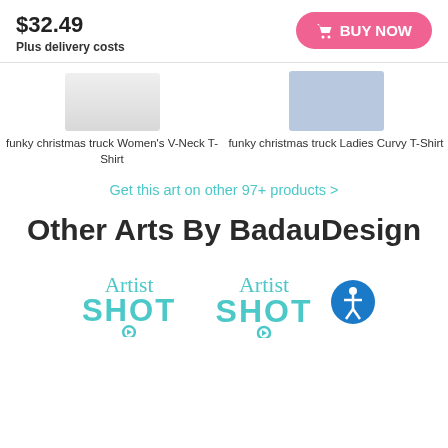$32.49
Plus delivery costs
BUY NOW
[Figure (photo): Two product images: funky christmas truck Women's V-Neck T-Shirt and funky christmas truck Ladies Curvy T-Shirt]
funky christmas truck Women's V-Neck T-Shirt
funky christmas truck Ladies Curvy T-Shirt
Get this art on other 97+ products >
Other Arts By BadauDesign
[Figure (logo): Artist Shot logo - teal colored with script 'Artist' and bold 'SHOT' text with arrow circle]
[Figure (logo): Artist Shot logo - teal colored with script 'Artist' and bold 'SHOT' text with arrow circle, plus blue accessibility icon circle]